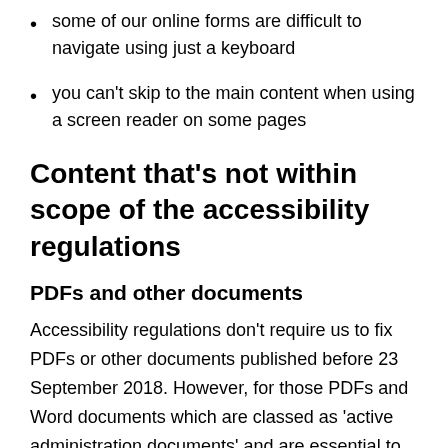some of our online forms are difficult to navigate using just a keyboard
you can't skip to the main content when using a screen reader on some pages
Content that's not within scope of the accessibility regulations
PDFs and other documents
Accessibility regulations don't require us to fix PDFs or other documents published before 23 September 2018. However, for those PDFs and Word documents which are classed as 'active administration documents' and are essential to providing our services, we'll look to replace with accessible versions. We plan to fix our PDFs by in a variety of ways. We will: